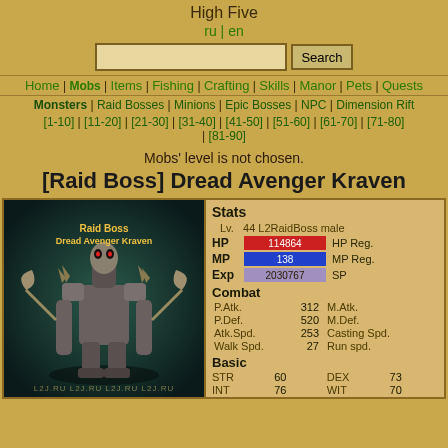High Five
ru | en
Search bar
Home | Mobs | Items | Fishing | Crafting | Skills | Manor | Pets | Quests
Monsters | Raid Bosses | Minions | Epic Bosses | NPC | Dimension Rift
[1-10] | [11-20] | [21-30] | [31-40] | [41-50] | [51-60] | [61-70] | [71-80] | [81-90]
Mobs' level is not chosen.
[Raid Boss] Dread Avenger Kraven
[Figure (screenshot): Screenshot of Raid Boss Dread Avenger Kraven in-game, dark teal background, skeletal/armored figure with text 'Raid Boss Dread Avenger Kraven' overlaid]
| Stat | Value | Stat | Value |
| --- | --- | --- | --- |
| Lv. | 44 L2RaidBoss male |  |  |
| HP | 114864 | HP Reg. |  |
| MP | 138 | MP Reg. |  |
| Exp | 2030767 | SP |  |
| Combat |  |  |  |
| P.Atk. | 312 | M.Atk. |  |
| P.Def. | 520 | M.Def. |  |
| Atk.Spd. | 253 | Casting Spd. |  |
| Walk Spd. | 27 | Run spd. |  |
| Basic |  |  |  |
| STR | 60 | DEX | 73 |
| INT | 76 | WIT | 70 |
| Social |  |  |  |